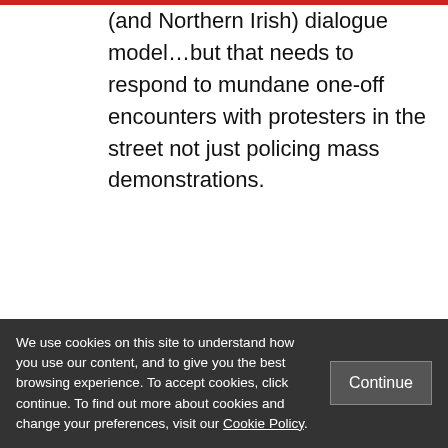(and Northern Irish) dialogue model…but that needs to respond to mundane one-off encounters with protesters in the street not just policing mass demonstrations.
How can the policing of protests be presented as a shared enterprise in which we all have a collective interest?
There narrative shows sign of strain –
PNIMBYi... Protest but NotIN My Back
We use cookies on this site to understand how you use our content, and to give you the best browsing experience. To accept cookies, click continue. To find out more about cookies and change your preferences, visit our Cookie Policy.